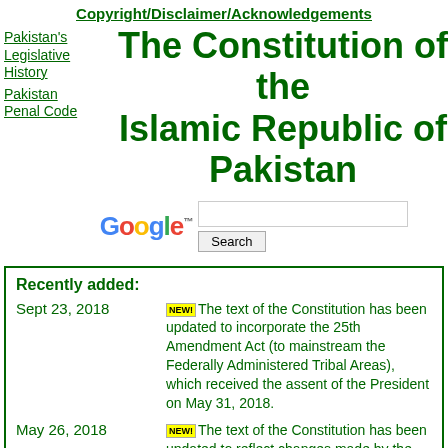Copyright/Disclaimer/Acknowledgements
Pakistan's Legislative History
Pakistan Penal Code
The Constitution of the Islamic Republic of Pakistan
[Figure (screenshot): Google search box with Search button]
Recently added:
Sept 23, 2018 — NEW! The text of the Constitution has been updated to incorporate the 25th Amendment Act (to mainstream the Federally Administered Tribal Areas), which received the assent of the President on May 31, 2018.
May 26, 2018 — NEW! The text of the Constitution has been updated to reflect changes made by the 22nd, 23rd and 24th Amendment Acts and in current as of...